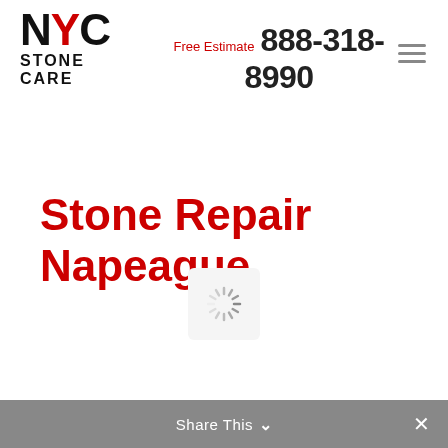[Figure (logo): NYC Stone Care logo with red Y and black N, C letters, with STONE CARE text below]
Free Estimate 888-318-8990
Stone Repair Napeague
[Figure (other): Loading spinner icon inside a light gray rounded box]
Share This ✓ ×